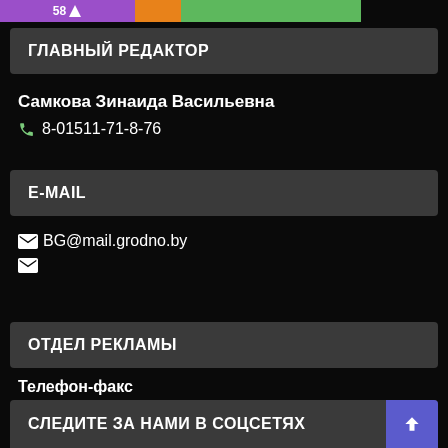[Figure (screenshot): Top status bar with purple section showing score 58 and battery icon, orange section, and green section]
ГЛАВНЫЙ РЕДАКТОР
Самкова Зинаида Васильевна
☎ 8-01511-71-8-76
E-MAIL
✉ BG@mail.grodno.by
✉
ОТДЕЛ РЕКЛАМЫ
Телефон-факс
☎ 8-01511-73-7-69
СЛЕДИТЕ ЗА НАМИ В СОЦСЕТЯХ